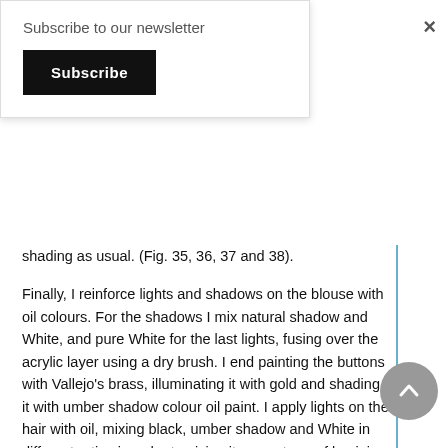Subscribe to our newsletter
Subscribe
shading as usual. (Fig. 35, 36, 37 and 38).
Finally, I reinforce lights and shadows on the blouse with oil colours. For the shadows I mix natural shadow and White, and pure White for the last lights, fusing over the acrylic layer using a dry brush. I end painting the buttons with Vallejo’s brass, illuminating it with gold and shading it with umber shadow colour oil paint. I apply lights on the hair with oil, mixing black, umber shadow and White in different ratios in order to giving it a spectrum of luminic values. (Fig. 39, 40, 41, 42, 43 and 44).
At last, the bust is finished.
This description is summarised, giving you